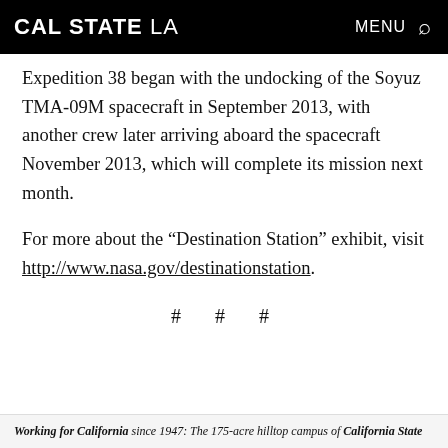CAL STATE LA  MENU
Expedition 38 began with the undocking of the Soyuz TMA-09M spacecraft in September 2013, with another crew later arriving aboard the spacecraft November 2013, which will complete its mission next month.
For more about the “Destination Station” exhibit, visit http://www.nasa.gov/destinationstation.
# # #
Working for California since 1947: The 175-acre hilltop campus of California State